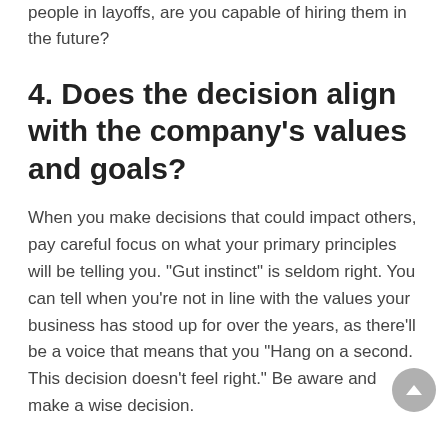people in layoffs, are you capable of hiring them in the future?
4. Does the decision align with the company's values and goals?
When you make decisions that could impact others, pay careful focus on what your primary principles will be telling you. "Gut instinct" is seldom right. You can tell when you're not in line with the values your business has stood up for over the years, as there'll be a voice that means that you "Hang on a second. This decision doesn't feel right." Be aware and make a wise decision.
5. Does it yield profitable long-term results for the company?